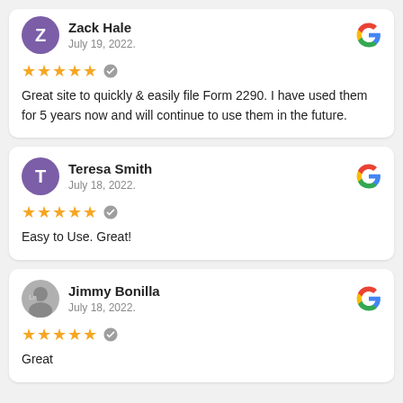Zack Hale
July 19, 2022.
★★★★★ ✓
Great site to quickly & easily file Form 2290. I have used them for 5 years now and will continue to use them in the future.
Teresa Smith
July 18, 2022.
★★★★★ ✓
Easy to Use. Great!
Jimmy Bonilla
July 18, 2022.
★★★★★ ✓
Great